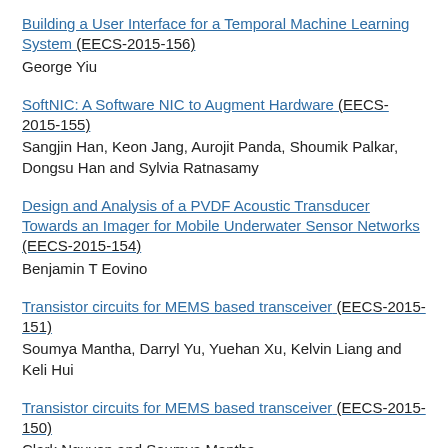Building a User Interface for a Temporal Machine Learning System (EECS-2015-156)
George Yiu
SoftNIC: A Software NIC to Augment Hardware (EECS-2015-155)
Sangjin Han, Keon Jang, Aurojit Panda, Shoumik Palkar, Dongsu Han and Sylvia Ratnasamy
Design and Analysis of a PVDF Acoustic Transducer Towards an Imager for Mobile Underwater Sensor Networks (EECS-2015-154)
Benjamin T Eovino
Transistor circuits for MEMS based transceiver (EECS-2015-151)
Soumya Mantha, Darryl Yu, Yuehan Xu, Kelvin Liang and Keli Hui
Transistor circuits for MEMS based transceiver (EECS-2015-150)
Clark Nguyen and Soumya Mantha